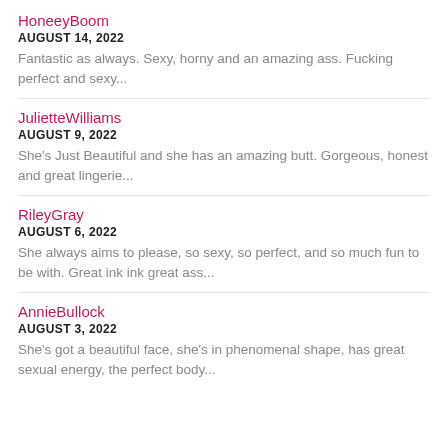HoneeyBoom
AUGUST 14, 2022
Fantastic as always. Sexy, horny and an amazing ass. Fucking perfect and sexy...
JulietteWilliams
AUGUST 9, 2022
She's Just Beautiful and she has an amazing butt. Gorgeous, honest and great lingerie...
RileyGray
AUGUST 6, 2022
She always aims to please, so sexy, so perfect, and so much fun to be with. Great ink ink great ass...
AnnieBullock
AUGUST 3, 2022
She's got a beautiful face, she's in phenomenal shape, has great sexual energy, the perfect body...